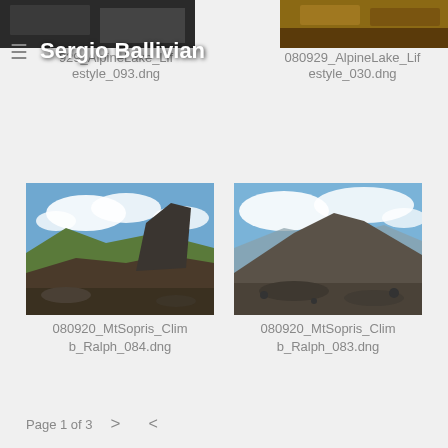Sergio Ballivian
[Figure (photo): Partial photo thumbnail top-left, dark mountain/outdoor scene, filename: 929_AlpineLake_Lifestyle_093.dng]
929_AlpineLake_Lifestyle_093.dng
[Figure (photo): Partial photo thumbnail top-right, rocky mountain terrain, filename: 080929_AlpineLake_Lifestyle_030.dng]
080929_AlpineLake_Lifestyle_030.dng
[Figure (photo): Mountain summit photo with large rock formation, blue sky and clouds, valley view below, filename: 080920_MtSopris_Climb_Ralph_084.dng]
080920_MtSopris_Climb_Ralph_084.dng
[Figure (photo): Mountain ridge photo with rocky summit and blue sky with clouds, filename: 080920_MtSopris_Climb_Ralph_083.dng]
080920_MtSopris_Climb_Ralph_083.dng
Page 1 of 3  >  <